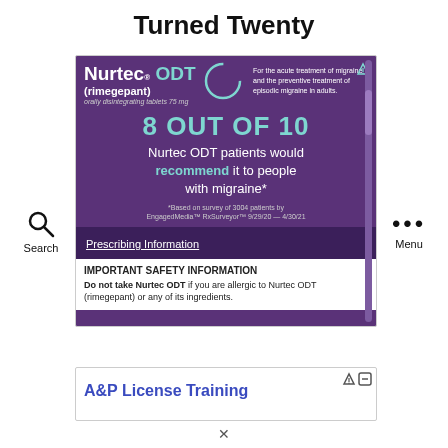Turned Twenty
[Figure (screenshot): Nurtec ODT (rimegepant) advertisement. Purple background. Shows '8 OUT OF 10 Nurtec ODT patients would recommend it to people with migraine*'. Footnote: '*Based on survey of 3004 patients by EngagedMedia™ RxSurveyor™ 9/29/20 — 4/30/21'. Below: Prescribing Information link, IMPORTANT SAFETY INFORMATION, 'Do not take Nurtec ODT if you are allergic to Nurtec ODT (rimegepant) or any of its ingredients.']
Search
Menu
[Figure (screenshot): A&P License Training advertisement banner, partially visible.]